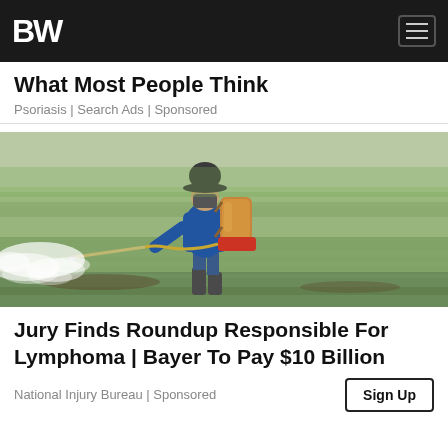BW
What Most People Think
Psoriasis | Search Ads | Sponsored
[Figure (photo): A farmer wearing a blue long-sleeve shirt, hat, and rubber boots, carrying a yellow backpack sprayer, spraying pesticide/herbicide over a green flooded rice field.]
Jury Finds Roundup Responsible For Lymphoma | Bayer To Pay $10 Billion
National Injury Bureau | Sponsored